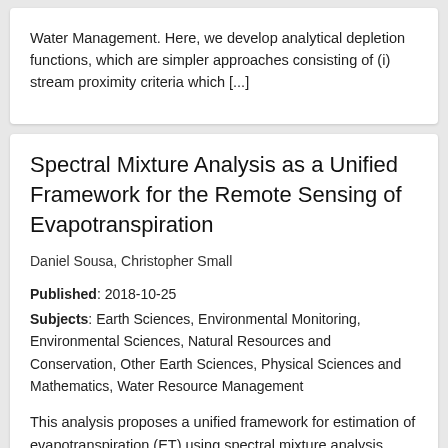Water Management. Here, we develop analytical depletion functions, which are simpler approaches consisting of (i) stream proximity criteria which [...]
Spectral Mixture Analysis as a Unified Framework for the Remote Sensing of Evapotranspiration
Daniel Sousa, Christopher Small
Published: 2018-10-25
Subjects: Earth Sciences, Environmental Monitoring, Environmental Sciences, Natural Resources and Conservation, Other Earth Sciences, Physical Sciences and Mathematics, Water Resource Management
This analysis proposes a unified framework for estimation of evapotranspiration (ET) using spectral mixture analysis (SMA) based on globally standardized